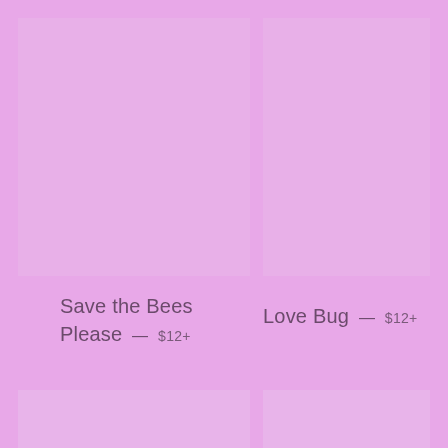[Figure (illustration): Product image placeholder card top left - pink background square]
[Figure (illustration): Product image placeholder card top right - pink background square]
Save the Bees Please — $12+
Love Bug — $12+
[Figure (illustration): Product image placeholder card bottom left - pink background partial]
[Figure (illustration): Product image placeholder card bottom right - pink background partial]